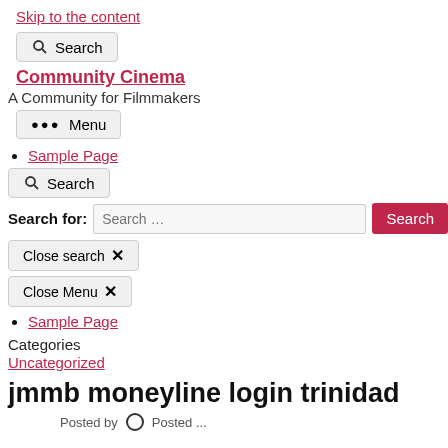Skip to the content
Search
Community Cinema
A Community for Filmmakers
••• Menu
Sample Page
Search
Search for: Search …  Search
Close search ✕
Close Menu ✕
Sample Page
Categories
Uncategorized
jmmb moneyline login trinidad